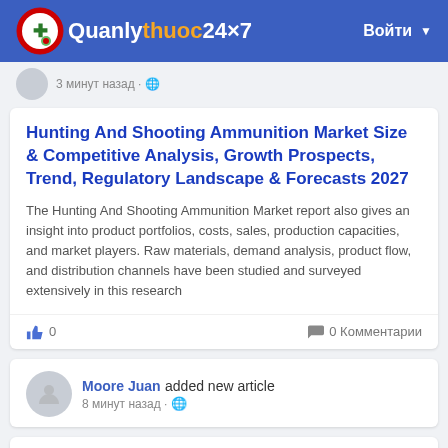Quanlythuoc24x7 | Войти
3 минут назад
Hunting And Shooting Ammunition Market Size & Competitive Analysis, Growth Prospects, Trend, Regulatory Landscape & Forecasts 2027
The Hunting And Shooting Ammunition Market report also gives an insight into product portfolios, costs, sales, production capacities, and market players. Raw materials, demand analysis, product flow, and distribution channels have been studied and surveyed extensively in this research
0   0 Комментарии
Moore Juan added new article
8 минут назад -
Industrial Espresso Market Is Expected...